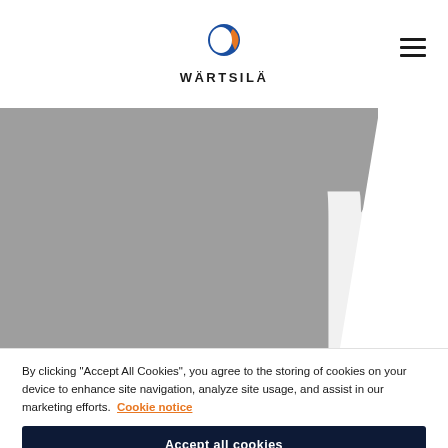WÄRTSILÄ
[Figure (illustration): Gray geometric background shape with large white letter 'p' partially visible, forming a banner/hero area for the Wärtsilä website]
By clicking "Accept All Cookies", you agree to the storing of cookies on your device to enhance site navigation, analyze site usage, and assist in our marketing efforts. Cookie notice
Accept all cookies
Cookies settings